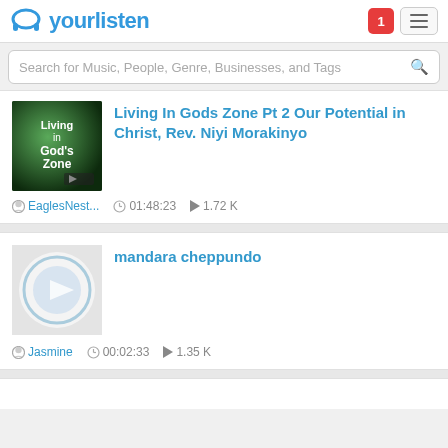yourlisten
Search for Music, People, Genre, Businesses, and Tags
Living In Gods Zone Pt 2 Our Potential in Christ, Rev. Niyi Morakinyo
EaglesNest...  01:48:23  1.72 K
mandara cheppundo
Jasmine  00:02:33  1.35 K